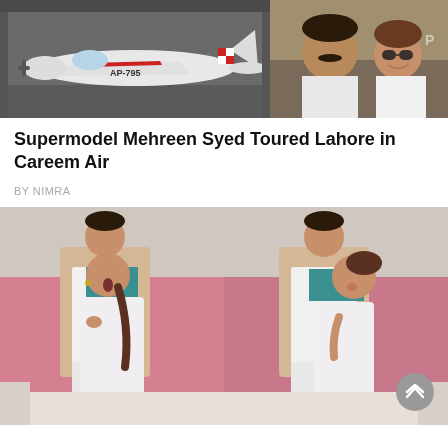[Figure (photo): Left: A small white and red propeller plane parked in a hangar. Right: A man with a mustache and a woman wearing sunglasses taking a selfie inside a small aircraft cockpit.]
Supermodel Mehreen Syed Toured Lahore in Careem Air
BY NIMRA
[Figure (photo): Two side-by-side photos of a man in a beige waistcoat and white kurta with a woman in a white embroidered outfit with a teal dupatta, posing together in a pink-walled room.]